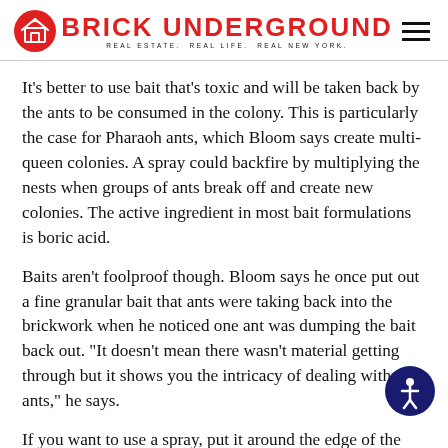BRICK UNDERGROUND — REAL ESTATE. REAL LIFE. REAL NEW YORK.
It's better to use bait that's toxic and will be taken back by the ants to be consumed in the colony. This is particularly the case for Pharaoh ants, which Bloom says create multi-queen colonies. A spray could backfire by multiplying the nests when groups of ants break off and create new colonies. The active ingredient in most bait formulations is boric acid.
Baits aren't foolproof though. Bloom says he once put out a fine granular bait that ants were taking back into the brickwork when he noticed one ant was dumping the bait back out. "It doesn't mean there wasn't material getting through but it shows you the intricacy of dealing with ants," he says.
If you want to use a spray, put it around the edge of the